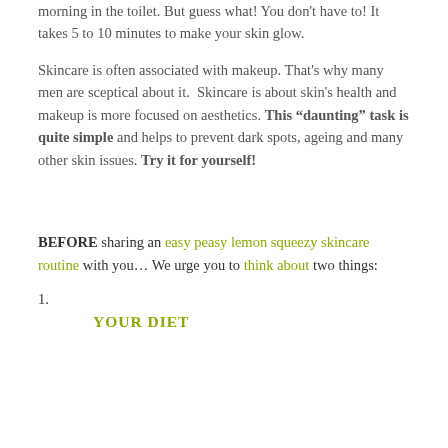morning in the toilet. But guess what! You don't have to! It takes 5 to 10 minutes to make your skin glow.
Skincare is often associated with makeup. That's why many men are sceptical about it. Skincare is about skin's health and makeup is more focused on aesthetics. This “daunting” task is quite simple and helps to prevent dark spots, ageing and many other skin issues. Try it for yourself!
BEFORE sharing an easy peasy lemon squeezy skincare routine with you… We urge you to think about two things:
1.
YOUR DIET